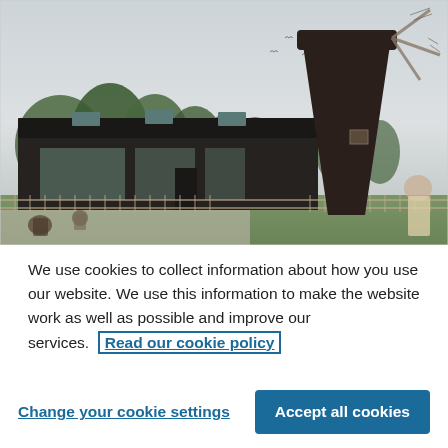[Figure (photo): Outdoor scene showing a dark wooden barn-style building with skylights, a large dark windmill tower on the right, green trees in background, people visible in foreground near a fence, under an overcast sky.]
We use cookies to collect information about how you use our website. We use this information to make the website work as well as possible and improve our services.  Read our cookie policy
Change your cookie settings
Accept all cookies